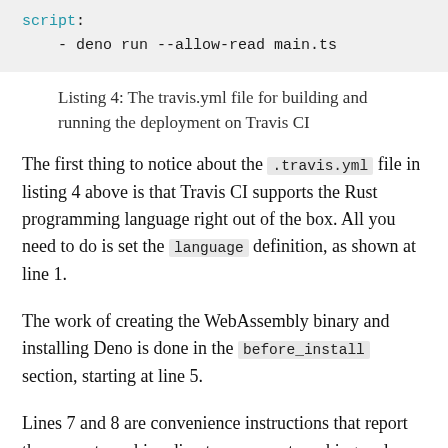[Figure (screenshot): Code block showing YAML script section: 'script:' followed by '- deno run --allow-read main.ts']
Listing 4: The travis.yml file for building and running the deployment on Travis CI
The first thing to notice about the .travis.yml file in listing 4 above is that Travis CI supports the Rust programming language right out of the box. All you need to do is set the language definition, as shown at line 1.
The work of creating the WebAssembly binary and installing Deno is done in the before_install section, starting at line 5.
Lines 7 and 8 are convenience instructions that report the current machine directory, current working and the ...